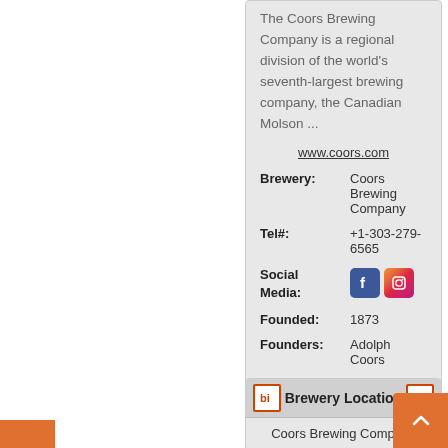The Coors Brewing Company is a regional division of the world's seventh-largest brewing company, the Canadian Molson ...
www.coors.com
| Brewery: | Coors Brewing Company |
| Tel#: | +1-303-279-6565 |
| Social Media: | [Facebook icon] [Instagram icon] |
| Founded: | 1873 |
| Founders: | Adolph Coors |
| Owners: | Molson Coors Brewing Company |
| Capacity: | 5000000000 |
Brewery Location
Coors Brewing Company